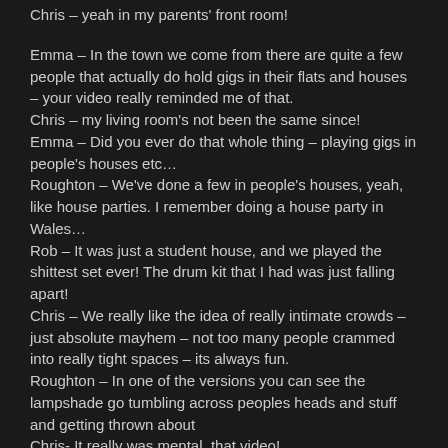Chris – yeah in my parents' front room!

Emma – In the town we come from there are quite a few people that actually do hold gigs in their flats and houses – your video really reminded me of that.
Chris – my living room's not been the same since!
Emma – Did you ever do that whole thing – playing gigs in people's houses etc…
Roughton – We've done a few in people's houses, yeah, like house parties. I remember doing a house party in Wales…
Rob – It was just a student house, and we played the shittest set ever! The drum kit that I had was just falling apart!
Chris – We really like the idea of really intimate crowds – just absolute mayhem – not too many people crammed into really tight spaces – its always fun.
Roughton – In one of the versions you can see the lampshade go tumbling across peoples heads and stuff and getting thrown about
Chris- It really was mental, that video!